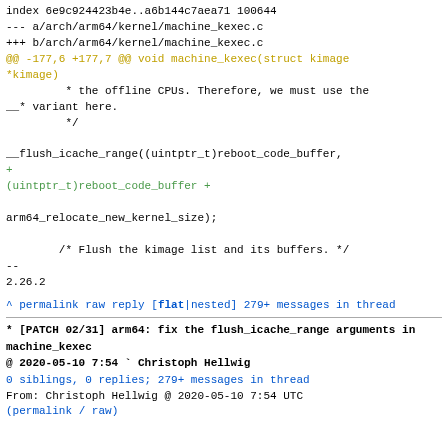index 6e9c924423b4e..a6b144c7aea71 100644
--- a/arch/arm64/kernel/machine_kexec.c
+++ b/arch/arm64/kernel/machine_kexec.c
@@ -177,6 +177,7 @@ void machine_kexec(struct kimage *kimage)
          * the offline CPUs. Therefore, we must use the __* variant here.
          */

__flush_icache_range((uintptr_t)reboot_code_buffer,
+
+(uintptr_t)reboot_code_buffer +

arm64_relocate_new_kernel_size);

          /* Flush the kimage list and its buffers. */
--
2.26.2
^ permalink raw reply   [flat|nested] 279+ messages in thread
* [PATCH 02/31] arm64: fix the flush_icache_range arguments in machine_kexec
@ 2020-05-10  7:54    ` Christoph Hellwig
  0 siblings, 0 replies; 279+ messages in thread
From: Christoph Hellwig @ 2020-05-10  7:54 UTC
(permalink / raw)